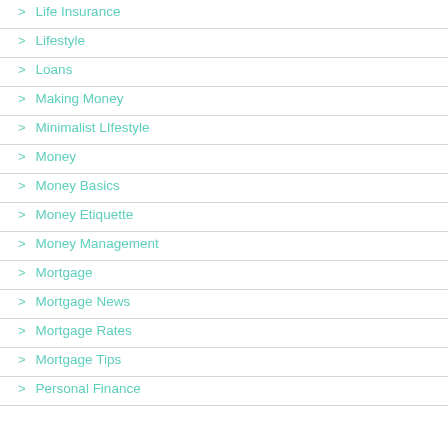> Life Insurance
> Lifestyle
> Loans
> Making Money
> Minimalist LIfestyle
> Money
> Money Basics
> Money Etiquette
> Money Management
> Mortgage
> Mortgage News
> Mortgage Rates
> Mortgage Tips
> Personal Finance